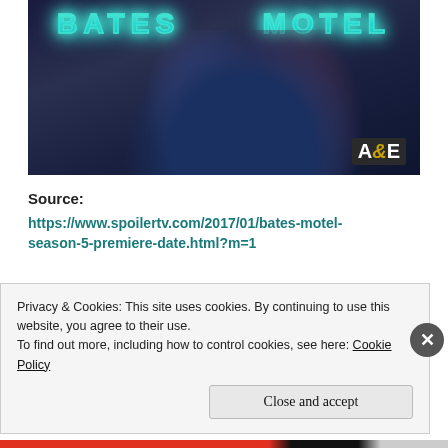[Figure (photo): Promotional image for Bates Motel TV show on A&E channel. Text 'BATES MOTEL' in glowing teal neon letters at top. Two figures shown — a young man in a dark blue sweater and a woman in a blue floral dress, posed dramatically. A&E logo in bottom right corner. Dark moody background.]
Source:
https://www.spoilertv.com/2017/01/bates-motel-season-5-premiere-date.html?m=1
To finish off my week I didn't watch anything on
Privacy & Cookies: This site uses cookies. By continuing to use this website, you agree to their use.
To find out more, including how to control cookies, see here: Cookie Policy
Close and accept